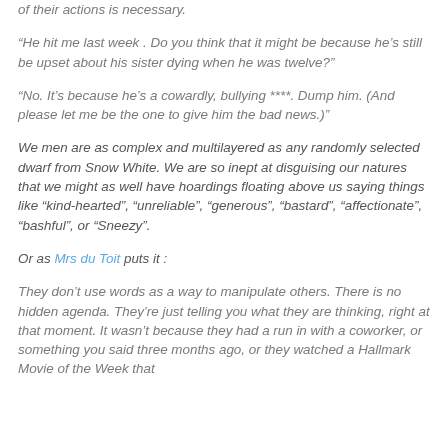of their actions is necessary.
“He hit me last week . Do you think that it might be because he’s still be upset about his sister dying when he was twelve?”
“No. It’s because he’s a cowardly, bullying ****. Dump him. (And please let me be the one to give him the bad news.)”
We men are as complex and multilayered as any randomly selected dwarf from Snow White. We are so inept at disguising our natures that we might as well have hoardings floating above us saying things like “kind-hearted”, “unreliable”, “generous”, “bastard”, “affectionate”, “bashful”, or “Sneezy”.
Or as Mrs du Toit puts it :
They don’t use words as a way to manipulate others. There is no hidden agenda. They’re just telling you what they are thinking, right at that moment. It wasn’t because they had a run in with a coworker, or something you said three months ago, or they watched a Hallmark Movie of the Week that...